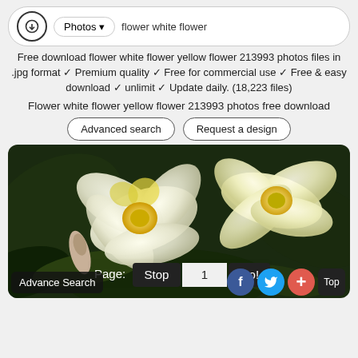Photos ▾  flower white flower
Free download flower white flower yellow flower 213993 photos files in .jpg format ✓ Premium quality ✓ Free for commercial use ✓ Free & easy download ✓ unlimit ✓ Update daily. (18,223 files)
Flower white flower yellow flower 213993 photos free download
Advanced search   Request a design
[Figure (photo): Close-up photo of white and yellow frangipani (plumeria) flowers with dark green leaves in background. Pagination controls overlay: Page: Stop 1 Go!]
Advance Search  f  (twitter)  +  Top